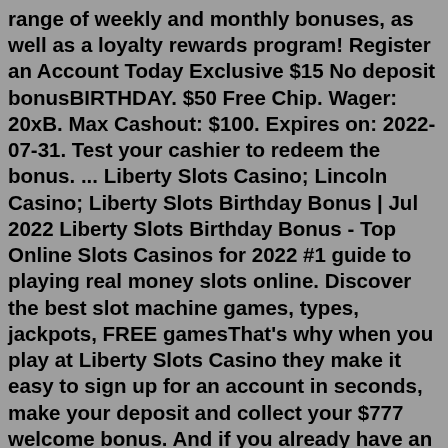range of weekly and monthly bonuses, as well as a loyalty rewards program! Register an Account Today Exclusive $15 No deposit bonusBIRTHDAY. $50 Free Chip. Wager: 20xB. Max Cashout: $100. Expires on: 2022-07-31. Test your cashier to redeem the bonus. ... Liberty Slots Casino; Lincoln Casino; Liberty Slots Birthday Bonus | Jul 2022 Liberty Slots Birthday Bonus - Top Online Slots Casinos for 2022 #1 guide to playing real money slots online. Discover the best slot machine games, types, jackpots, FREE gamesThat's why when you play at Liberty Slots Casino they make it easy to sign up for an account in seconds, make your deposit and collect your $777 welcome bonus. And if you already have an account, they also make it easy for you to login and pick up where you left off. Whether you are on a mobile device or on a computer the login process is easy.More bonuses for Liberty Slots Casino. Amount: $10 Free Chip Play through: 40xB Valid for: New players. Bonus Code 10HEIST . Valid till: 2021-12-31 Full bonus info ... You will get